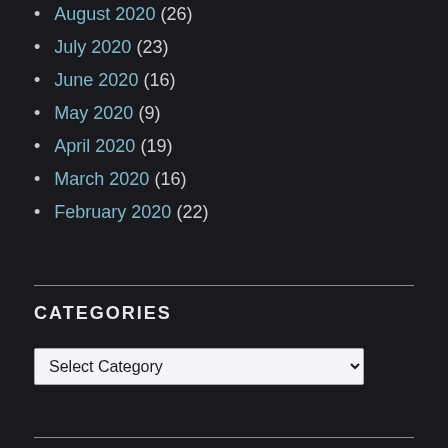August 2020 (26)
July 2020 (23)
June 2020 (16)
May 2020 (9)
April 2020 (19)
March 2020 (16)
February 2020 (22)
CATEGORIES
Select Category